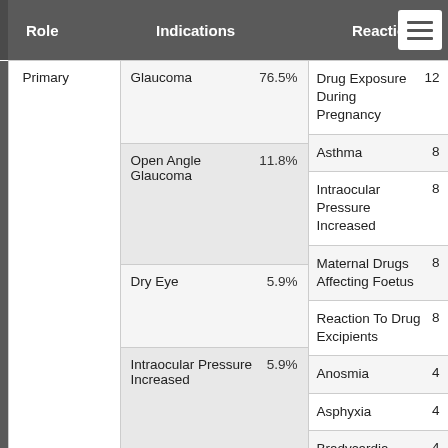| Role | Indications | Reactions |
| --- | --- | --- |
| Primary | Glaucoma 76.5% | Drug Exposure During Pregnancy 12 |
|  | Open Angle Glaucoma 11.8% | Asthma 8 |
|  | Dry Eye 5.9% | Intraocular Pressure Increased 8 |
|  | Intraocular Pressure Increased 5.9% | Maternal Drugs Affecting Foetus 8 |
|  |  | Reaction To Drug Excipients 8 |
|  |  | Anosmia 4 |
|  |  | Asphyxia 4 |
|  |  | Bradycardia ... |